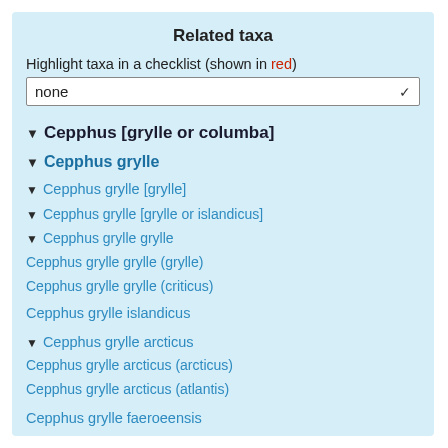Related taxa
Highlight taxa in a checklist (shown in red)
▼ Cepphus [grylle or columba]
▼ Cepphus grylle
▼ Cepphus grylle [grylle]
▼ Cepphus grylle [grylle or islandicus]
▼ Cepphus grylle grylle
Cepphus grylle grylle (grylle)
Cepphus grylle grylle (criticus)
Cepphus grylle islandicus
▼ Cepphus grylle arcticus
Cepphus grylle arcticus (arcticus)
Cepphus grylle arcticus (atlantis)
Cepphus grylle faeroeensis